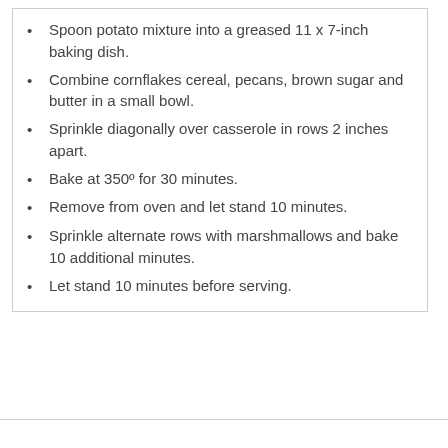Spoon potato mixture into a greased 11 x 7-inch baking dish.
Combine cornflakes cereal, pecans, brown sugar and butter in a small bowl.
Sprinkle diagonally over casserole in rows 2 inches apart.
Bake at 350º for 30 minutes.
Remove from oven and let stand 10 minutes.
Sprinkle alternate rows with marshmallows and bake 10 additional minutes.
Let stand 10 minutes before serving.